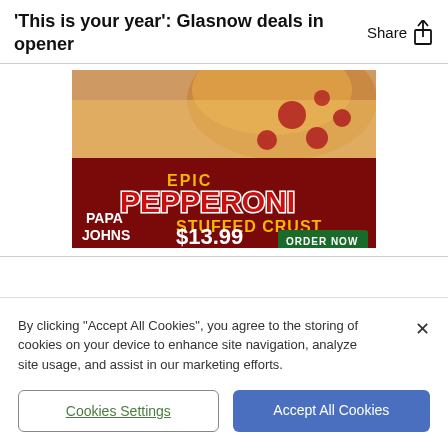'This is your year': Glasnow deals in opener
[Figure (photo): Papa John's advertisement for Epic Pepperoni Stuffed Crust pizza priced at $13.99 with an ORDER NOW button]
By clicking "Accept All Cookies", you agree to the storing of cookies on your device to enhance site navigation, analyze site usage, and assist in our marketing efforts.
Cookies Settings | Accept All Cookies